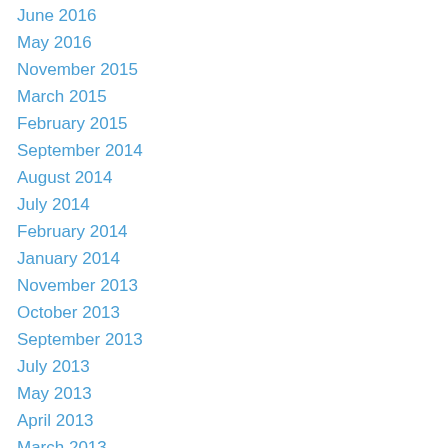June 2016
May 2016
November 2015
March 2015
February 2015
September 2014
August 2014
July 2014
February 2014
January 2014
November 2013
October 2013
September 2013
July 2013
May 2013
April 2013
March 2013
February 2013
November 2012
September 2012